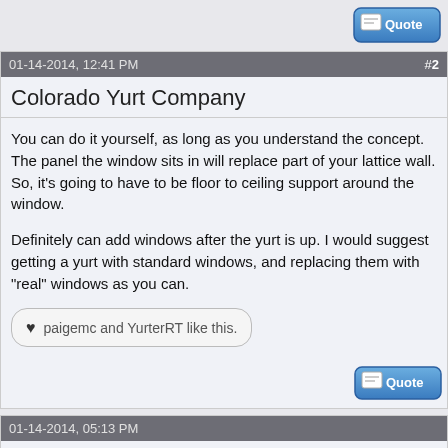[Figure (screenshot): Quote button in top right corner of the page]
01-14-2014, 12:41 PM   #2
Colorado Yurt Company
You can do it yourself, as long as you understand the concept. The panel the window sits in will replace part of your lattice wall. So, it's going to have to be floor to ceiling support around the window.
Definitely can add windows after the yurt is up. I would suggest getting a yurt with standard windows, and replacing them with "real" windows as you can.
♥ paigemc and YurterRT like this.
[Figure (screenshot): Quote button]
01-14-2014, 05:13 PM
Jafo
Here is a good video from Colorado Yurts about installing windows BTW:
[Figure (screenshot): Dark thumbnail bar at bottom of page]